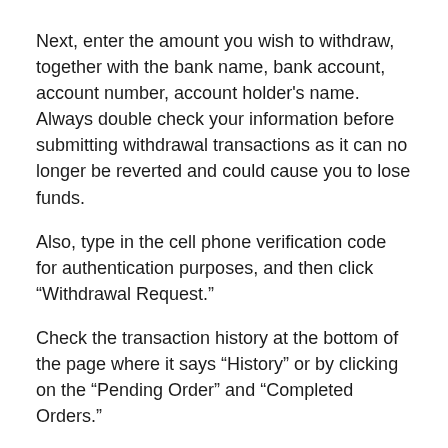Next, enter the amount you wish to withdraw, together with the bank name, bank account, account number, account holder's name. Always double check your information before submitting withdrawal transactions as it can no longer be reverted and could cause you to lose funds.
Also, type in the cell phone verification code for authentication purposes, and then click “Withdrawal Request.”
Check the transaction history at the bottom of the page where it says “History” or by clicking on the “Pending Order” and “Completed Orders.”
Fantastic! You have just withdrawn Bitcoin from your Bithumb account.
Step by step guide on how to deposit Bitcoin on your